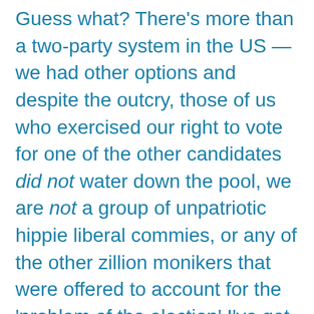Guess what? There's more than a two-party system in the US — we had other options and despite the outcry, those of us who exercised our right to vote for one of the other candidates did not water down the pool, we are not a group of unpatriotic hippie liberal commies, or any of the other zillion monikers that were offered to account for the 'problem of the election'.I've got a problem with the incoming Prez because he has said some incredibly offensive things. Leave us rewind to his point about Mexican people being criminals and so forth. Leave us rewind to his comment during the campaign: 'Where is my African American?'His 'othering' is infuriating for those of us who fall into the category.I will admit that my fury has, Incredible Hulkette-like, morphed into a sadistic